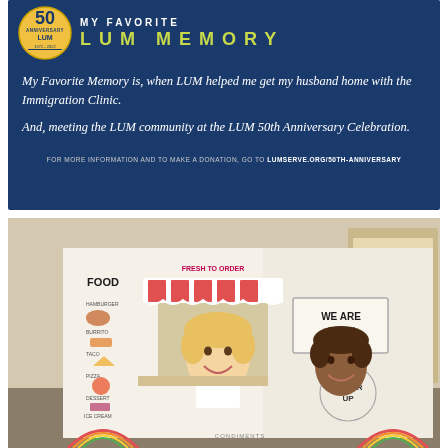[Figure (infographic): LUM 50th Anniversary 'My Favorite LUM Memory' card with dark blue background, LUM 50th Anniversary logo (gold circle with 1972-2022), title text 'MY FAVORITE LUM MEMORY' in yellow-green letters, two italic quotes about LUM memories, and a footer with website URL.]
My Favorite Memory is, when LUM helped me get my husband home with the Immigration Clinic.
And, meeting the LUM community at the LUM 50th Anniversary Celebration.
FOR MORE INFORMATION AND TO MAKE A DONATION, GO TO LUMSERVE.ORG/50TH-ANNIVERSARY
[Figure (photo): Two smiling children peeking through cutout windows of a large cardboard food truck playhouse. The truck has 'FOOD FRESH TO ORDER' written on it with colorful drawings of menu items, and a sign saying 'WE ARE OPEN'. Another sign reads 'ORDER UP'. The background shows a classroom setting.]